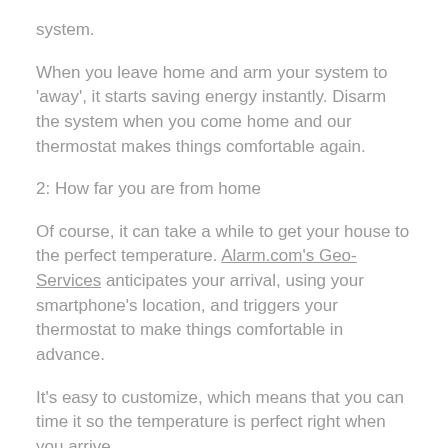system.
When you leave home and arm your system to ‘away’, it starts saving energy instantly. Disarm the system when you come home and our thermostat makes things comfortable again.
2: How far you are from home
Of course, it can take a while to get your house to the perfect temperature. Alarm.com’s Geo-Services anticipates your arrival, using your smartphone's location, and triggers your thermostat to make things comfortable in advance.
It's easy to customize, which means that you can time it so the temperature is perfect right when you arrive.
3: If your window is open